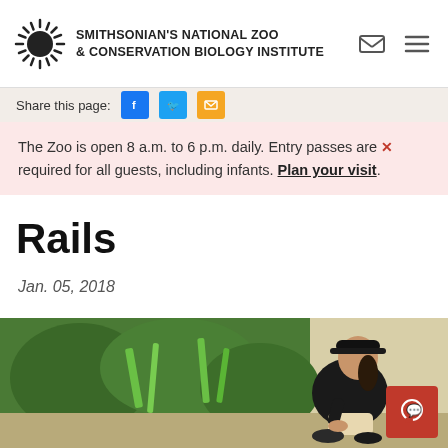SMITHSONIAN'S NATIONAL ZOO & CONSERVATION BIOLOGY INSTITUTE
Share this page:
The Zoo is open 8 a.m. to 6 p.m. daily. Entry passes are required for all guests, including infants. Plan your visit.
Rails
Jan. 05, 2018
[Figure (photo): A woman wearing a black cap and black shirt crouching near sandy ground and green vegetation, smiling at the camera.]